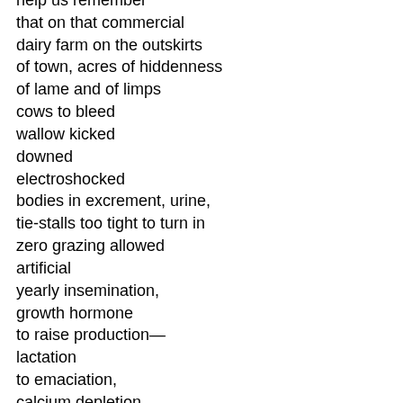help us remember
that on that commercial
dairy farm on the outskirts
of town, acres of hiddenness
of lame and of limps
cows to bleed
wallow kicked
downed
electroshocked
bodies in excrement, urine,
tie-stalls too tight to turn in
zero grazing allowed
artificial
yearly insemination,
growth hormone
to raise production—
lactation
to emaciation,
calcium depletion,
laminitis (corium injury),
digital dermatitis,
bacterial infection,
pus of mastitis,
ulcers of sole,